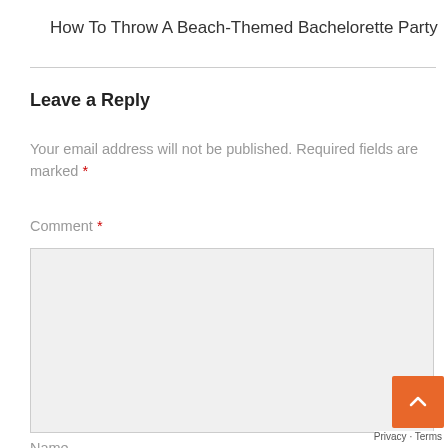How To Throw A Beach-Themed Bachelorette Party
Leave a Reply
Your email address will not be published. Required fields are marked *
Comment *
Name